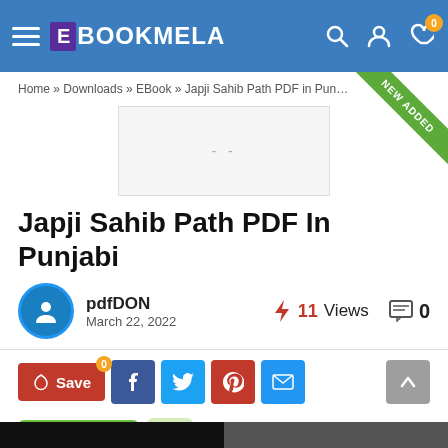eBookmela
Home » Downloads » EBook » Japji Sahib Path PDF in Punjabi
[Figure (illustration): Book cover placeholder image with dashes]
Japji Sahib Path PDF In Punjabi
pdfDON
March 22, 2022
11 Views
0
Save 0 (social share buttons: Facebook, Twitter, Pinterest, Email)
Like Score 0 ID: 402498